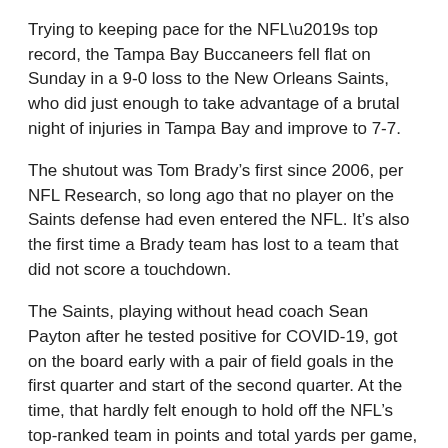Trying to keeping pace for the NFL’s top record, the Tampa Bay Buccaneers fell flat on Sunday in a 9-0 loss to the New Orleans Saints, who did just enough to take advantage of a brutal night of injuries in Tampa Bay and improve to 7-7.
The shutout was Tom Brady’s first since 2006, per NFL Research, so long ago that no player on the Saints defense had even entered the NFL. It’s also the first time a Brady team has lost to a team that did not score a touchdown.
The Saints, playing without head coach Sean Payton after he tested positive for COVID-19, got on the board early with a pair of field goals in the first quarter and start of the second quarter. At the time, that hardly felt enough to hold off the NFL’s top-ranked team in points and total yards per game, but the Saints pass rush was at least getting to Brady.
Injuries hit Bucs hard